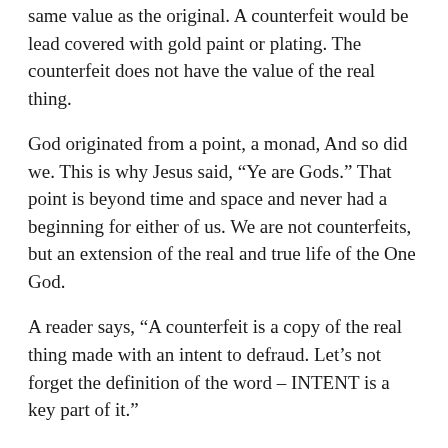same value as the original. A counterfeit would be lead covered with gold paint or plating. The counterfeit does not have the value of the real thing.
God originated from a point, a monad, And so did we. This is why Jesus said, “Ye are Gods.” That point is beyond time and space and never had a beginning for either of us. We are not counterfeits, but an extension of the real and true life of the One God.
A reader says, “A counterfeit is a copy of the real thing made with an intent to defraud. Let’s not forget the definition of the word – INTENT is a key part of it.”
The true counterfeits of God are the dark brothers who defraud us by setting themselves and their pawns up as unearned authorities demanding our reverence.
Feb 9, 2005
Copyright by J J Dewey